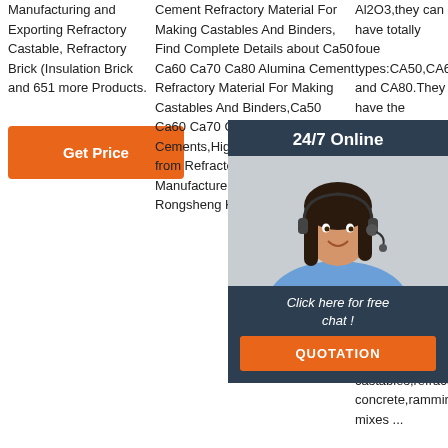Manufacturing and Exporting Refractory Castable, Refractory Brick (Insulation Brick and 651 more Products.
Get Price
Cement Refractory Material For Making Castables And Binders, Find Complete Details about Ca50 Ca60 Ca70 Ca80 Alumina Cement Refractory Material For Making Castables And Binders,Ca50 Ca60 Ca70 Ca80,Refractory Cements,High Alumina Cement from Refractory Supplier or Manufacturer-Zhengzhou Rongsheng Kiln
Al2O3,they can have totally foue types:CA50,CA60,CA70 and CA80.They have the advantages of longer service time,can bear high temprature stability in air,rapid strength addivity,suitable to confect all kinds of castables and low cement refractory castables,refractory concrete,ramming mixes ...
[Figure (illustration): Customer service agent photo with 24/7 Online banner, Click here for free chat text, and QUOTATION button overlay]
[Figure (illustration): TOP watermark logo in bottom right area]